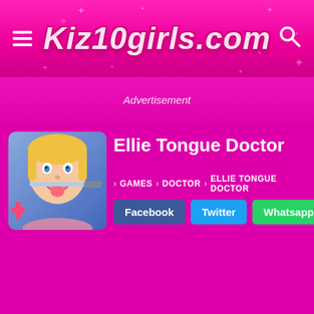Kiz10girls.com
Advertisement
[Figure (screenshot): Ellie Tongue Doctor game thumbnail showing a cartoon girl at a dentist]
Ellie Tongue Doctor
› GAMES › DOCTOR › ELLIE TONGUE DOCTOR
Facebook
Twitter
Whatsapp